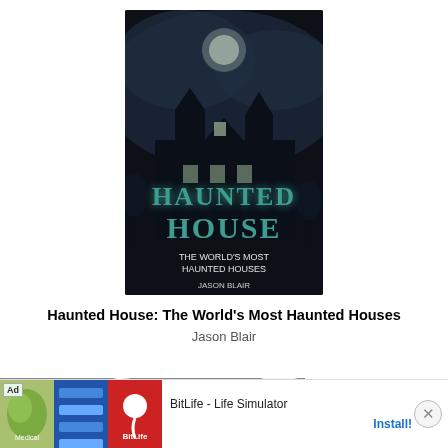[Figure (illustration): Book cover for 'Haunted House: The World's Most Haunted Houses' by Jason Blair — dark haunted mansion with teal gothic lettering]
Haunted House: The World's Most Haunted Houses
Jason Blair
[Figure (illustration): Ghost cartoon icon on grey background with a badge showing '0']
The George and Dragon Hotel
denshanger, Buckinghamshire
28.1 miles from denshanger, UK-J1
A spirit who has since become known as "The White Lady" has been seen here. She is
[Figure (screenshot): Ad banner: BitLife - Life Simulator app advertisement with Install button and close X]
BitLife - Life Simulator
Install!